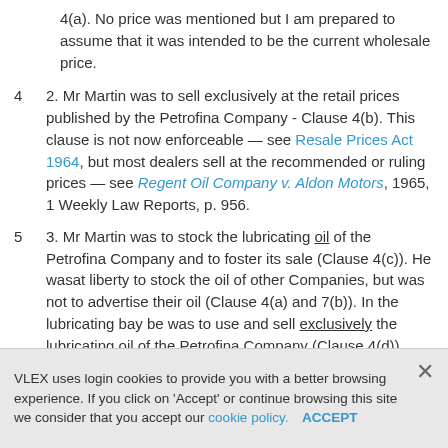4(a). No price was mentioned but I am prepared to assume that it was intended to be the current wholesale price.
4    2. Mr Martin was to sell exclusively at the retail prices published by the Petrofina Company - Clause 4(b). This clause is not now enforceable — see Resale Prices Act 1964, but most dealers sell at the recommended or ruling prices — see Regent Oil Company v. Aldon Motors, 1965, 1 Weekly Law Reports, p. 956.
5    3. Mr Martin was to stock the lubricating oil of the Petrofina Company and to foster its sale (Clause 4(c)). He wasat liberty to stock the oil of other Companies, but was not to advertise their oil (Clause 4(a) and 7(b)). In the lubricating bay be was to use and sell exclusively the lubricating oil of the Petrofina Company (Clause 4(d)).
6    4. Mr Martin wag to get a rebate of 1-1/5d. on every
VLEX uses login cookies to provide you with a better browsing experience. If you click on 'Accept' or continue browsing this site we consider that you accept our cookie policy.   ACCEPT